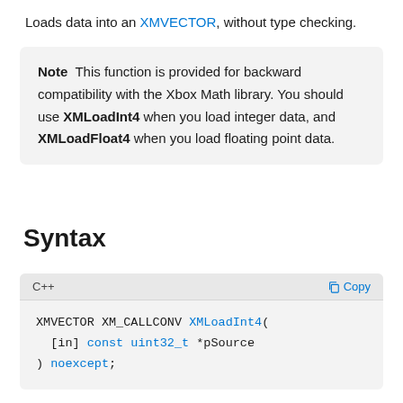Loads data into an XMVECTOR, without type checking.
Note  This function is provided for backward compatibility with the Xbox Math library. You should use XMLoadInt4 when you load integer data, and XMLoadFloat4 when you load floating point data.
Syntax
C++
XMVECTOR XM_CALLCONV XMLoadInt4(
  [in] const uint32_t *pSource
) noexcept;